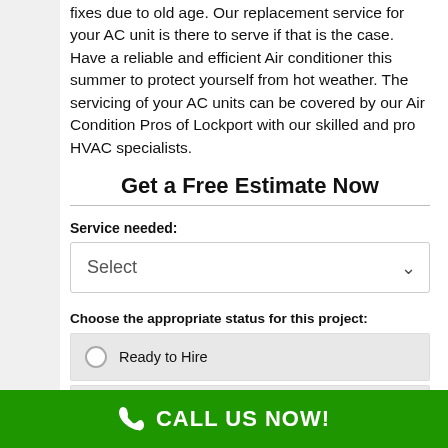fixes due to old age. Our replacement service for your AC unit is there to serve if that is the case. Have a reliable and efficient Air conditioner this summer to protect yourself from hot weather. The servicing of your AC units can be covered by our Air Condition Pros of Lockport with our skilled and pro HVAC specialists.
Get a Free Estimate Now
Service needed:
Select
Choose the appropriate status for this project:
Ready to Hire
Planning & Budgeting
CALL US NOW!